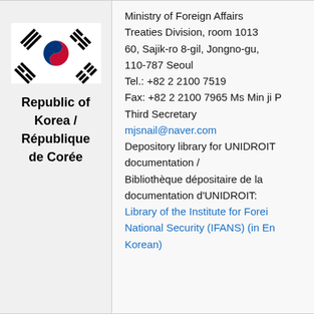[Figure (illustration): Flag of the Republic of Korea (Taegukgi) — white background with red and blue taeguk symbol in center and four black trigrams in corners]
Republic of Korea / République de Corée
Ministry of Foreign Affairs
Treaties Division, room 1013
60, Sajik-ro 8-gil, Jongno-gu,
110-787 Seoul
Tel.: +82 2 2100 7519
Fax: +82 2 2100 7965 Ms Min ji P
Third Secretary
mjsnail@naver.com
Depository library for UNIDROIT documentation /
Bibliothèque dépositaire de la documentation d'UNIDROIT:
Library of the Institute for Foreign National Security (IFANS) (in English and Korean)